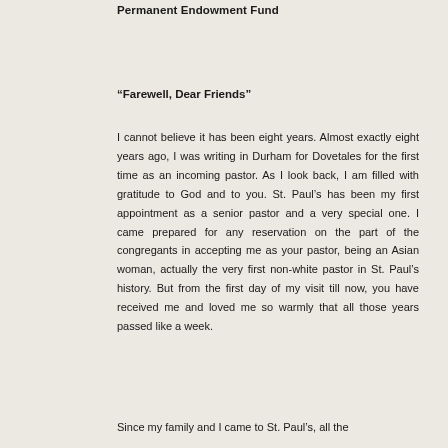Permanent Endowment Fund
“Farewell, Dear Friends”
I cannot believe it has been eight years. Almost exactly eight years ago, I was writing in Durham for Dovetales for the first time as an incoming pastor. As I look back, I am filled with gratitude to God and to you. St. Paul’s has been my first appointment as a senior pastor and a very special one. I came prepared for any reservation on the part of the congregants in accepting me as your pastor, being an Asian woman, actually the very first non-white pastor in St. Paul’s history. But from the first day of my visit till now, you have received me and loved me so warmly that all those years passed like a week.
Since my family and I came to St. Paul’s, all the